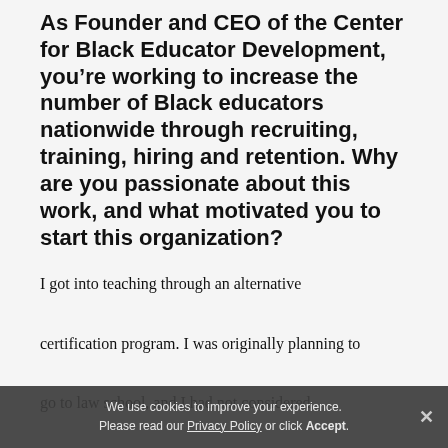As Founder and CEO of the Center for Black Educator Development, you’re working to increase the number of Black educators nationwide through recruiting, training, hiring and retention. Why are you passionate about this work, and what motivated you to start this organization?
I got into teaching through an alternative certification program. I was originally planning to go to law school, and I had not considered
We use cookies to improve your experience. Please read our Privacy Policy or click Accept.